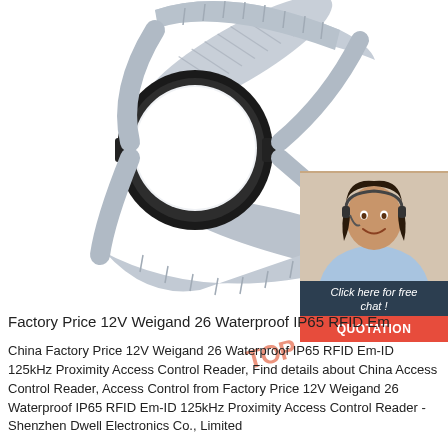[Figure (photo): RFID wristband with black circular chip housing and grey ribbed plastic strap, shown on white background]
[Figure (photo): Customer support agent overlay: dark teal header reading '24/7 Online', photo of smiling woman with headset, dark footer with italic text 'Click here for free chat!', and orange button reading 'QUOTATION']
Factory Price 12V Weigand 26 Waterproof IP65 RFID Em
China Factory Price 12V Weigand 26 Waterproof IP65 RFID Em-ID 125kHz Proximity Access Control Reader, Find details about China Access Control Reader, Access Control from Factory Price 12V Weigand 26 Waterproof IP65 RFID Em-ID 125kHz Proximity Access Control Reader - Shenzhen Dwell Electronics Co., Limited